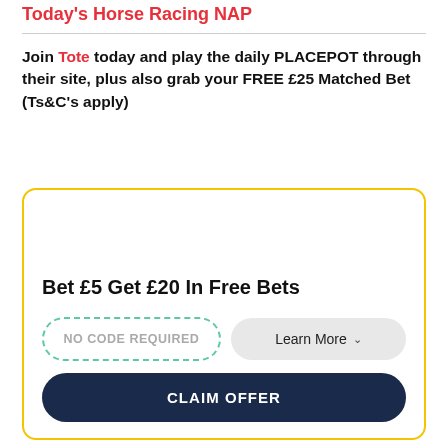Today's Horse Racing NAP
Join Tote today and play the daily PLACEPOT through their site, plus also grab your FREE £25 Matched Bet (Ts&C's apply)
[Figure (infographic): Promotional card with yellow border containing offer details: Bet £5 Get £20 In Free Bets, NO CODE REQUIRED dashed button, Learn More button, and CLAIM OFFER dark navy button]
Bet £5 Get £20 In Free Bets
NO CODE REQUIRED
Learn More
CLAIM OFFER